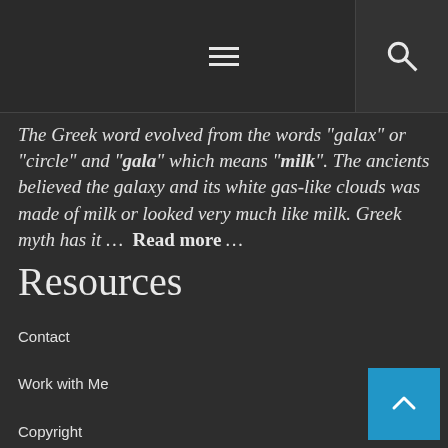Navigation bar with hamburger menu and search icon
The Greek word evolved from the words "galax" or "circle" and "gala" which means "milk". The ancients believed the galaxy and its white gas-like clouds was made of milk or looked very much like milk. Greek myth has it … Read more …
Resources
Contact
Work with Me
Copyright